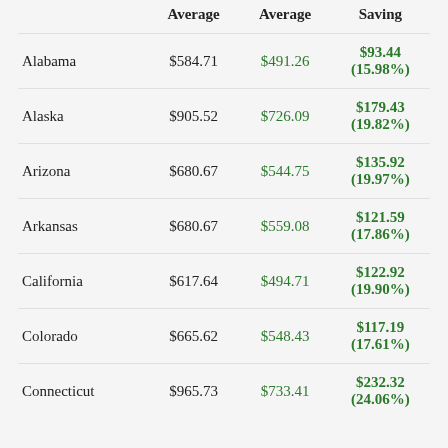|  | Average | Average | Saving |
| --- | --- | --- | --- |
| Alabama | $584.71 | $491.26 | $93.44 (15.98%) |
| Alaska | $905.52 | $726.09 | $179.43 (19.82%) |
| Arizona | $680.67 | $544.75 | $135.92 (19.97%) |
| Arkansas | $680.67 | $559.08 | $121.59 (17.86%) |
| California | $617.64 | $494.71 | $122.92 (19.90%) |
| Colorado | $665.62 | $548.43 | $117.19 (17.61%) |
| Connecticut | $965.73 | $733.41 | $232.32 (24.06%) |